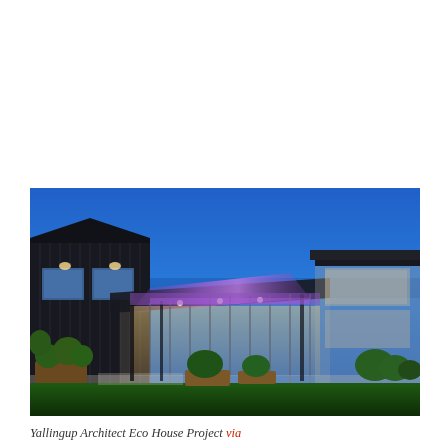[Figure (photo): Exterior night photo of the Yallingup Architect Eco House Project. A modern residential building lit at dusk with a deep blue sky. The building features dark vertical cladding on the left, a large glass-paned central covered patio area with warm interior lighting, a purple-lit pitched roof canopy in the center, and a right-side two-story section. Green lawns in the foreground, planters with shrubs along the building facade.]
Yallingup Architect Eco House Project via